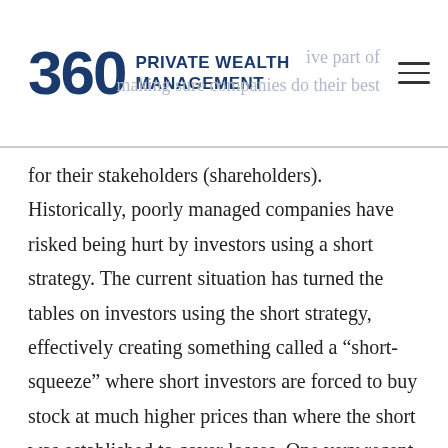360 PRIVATE WEALTH MANAGEMENT
for their stakeholders (shareholders). Historically, poorly managed companies have risked being hurt by investors using a short strategy. The current situation has turned the tables on investors using the short strategy, effectively creating something called a “short-squeeze” where short investors are forced to buy stock at much higher prices than where the short was established to cover losses. One very recent example of things going wrong